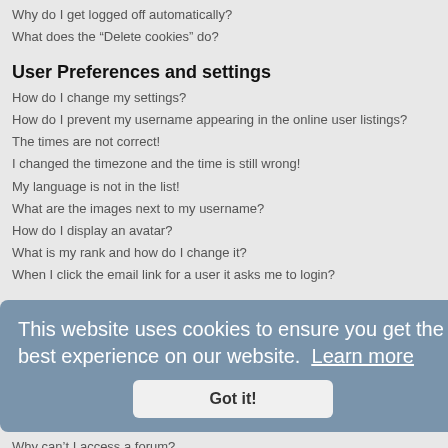Why do I get logged off automatically?
What does the “Delete cookies” do?
User Preferences and settings
How do I change my settings?
How do I prevent my username appearing in the online user listings?
The times are not correct!
I changed the timezone and the time is still wrong!
My language is not in the list!
What are the images next to my username?
How do I display an avatar?
What is my rank and how do I change it?
When I click the email link for a user it asks me to login?
Posting Issues
How do I create a new topic or post a reply?
How do I add a signature to my post?
How do I create a poll?
Why can’t I add more poll options?
How do I edit or delete a poll?
Why can’t I access a forum?
Why can’t I add attachments?
Why did I receive a warning?
This website uses cookies to ensure you get the best experience on our website. Learn more
Got it!